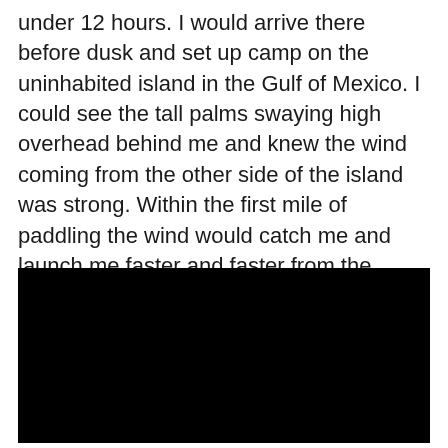under 12 hours. I would arrive there before dusk and set up camp on the uninhabited island in the Gulf of Mexico. I could see the tall palms swaying high overhead behind me and knew the wind coming from the other side of the island was strong. Within the first mile of paddling the wind would catch me and launch me faster and faster from the island until eventually I would not be able to paddle back. It was a commitment that gave me chills.
[Figure (photo): A completely black/dark photograph, appearing as a solid black rectangle.]